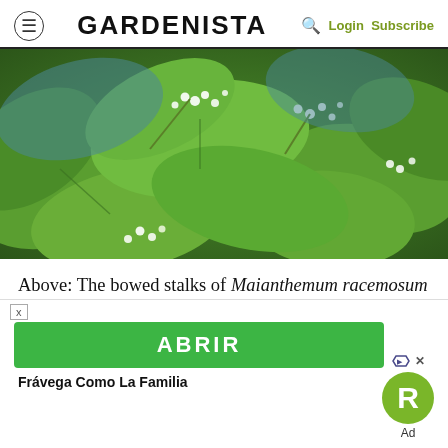GARDENISTA  Login Subscribe
[Figure (photo): Close-up photograph of Maianthemum racemosum plant showing green leaves and clusters of small white feathery flowers on bowed stalks.]
Above: The bowed stalks of Maianthemum racemosum resemble Solomon's seal, until they begin to bloom, showing off feathery white plumes
[Figure (other): Advertisement banner with green ABRIR button and Frávega Como La Familia branding with R logo badge.]